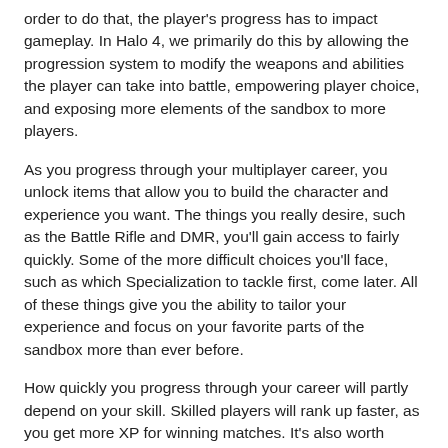order to do that, the player's progress has to impact gameplay. In Halo 4, we primarily do this by allowing the progression system to modify the weapons and abilities the player can take into battle, empowering player choice, and exposing more elements of the sandbox to more players.
As you progress through your multiplayer career, you unlock items that allow you to build the character and experience you want. The things you really desire, such as the Battle Rifle and DMR, you'll gain access to fairly quickly. Some of the more difficult choices you'll face, such as which Specialization to tackle first, come later. All of these things give you the ability to tailor your experience and focus on your favorite parts of the sandbox more than ever before.
How quickly you progress through your career will partly depend on your skill. Skilled players will rank up faster, as you get more XP for winning matches. It's also worth noting that quitters do not get game completion XP. They can progress commendations and challenges, but they will not get partial XP at the end of the game (AHEM).